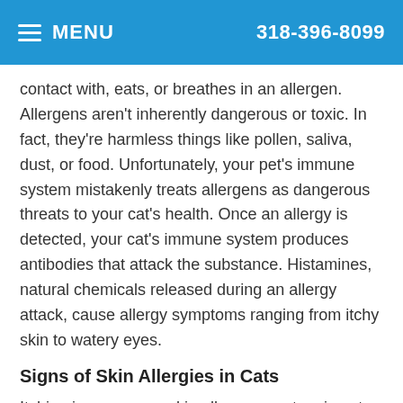MENU   318-396-8099
contact with, eats, or breathes in an allergen. Allergens aren't inherently dangerous or toxic. In fact, they're harmless things like pollen, saliva, dust, or food. Unfortunately, your pet's immune system mistakenly treats allergens as dangerous threats to your cat's health. Once an allergy is detected, your cat's immune system produces antibodies that attack the substance. Histamines, natural chemicals released during an allergy attack, cause allergy symptoms ranging from itchy skin to watery eyes.
Signs of Skin Allergies in Cats
Itching is a common skin allergy symptom in cats. In an attempt to stop the itch, your cat may resort to scratching, frequent grooming or biting the itchy